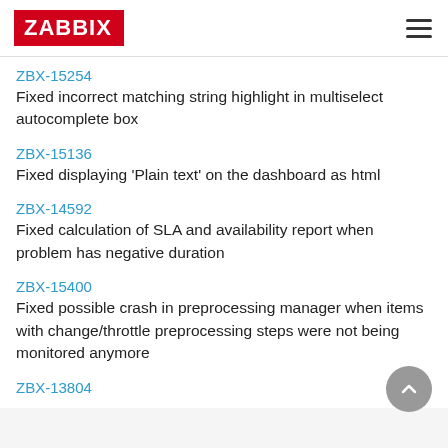ZABBIX
ZBX-15254
Fixed incorrect matching string highlight in multiselect autocomplete box
ZBX-15136
Fixed displaying 'Plain text' on the dashboard as html
ZBX-14592
Fixed calculation of SLA and availability report when problem has negative duration
ZBX-15400
Fixed possible crash in preprocessing manager when items with change/throttle preprocessing steps were not being monitored anymore
ZBX-13804